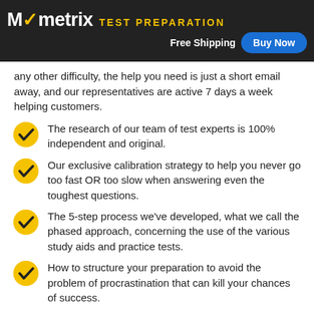Mometrix TEST PREPARATION | Free Shipping | Buy Now
any other difficulty, the help you need is just a short email away, and our representatives are active 7 days a week helping customers.
The research of our team of test experts is 100% independent and original.
Our exclusive calibration strategy to help you never go too fast OR too slow when answering even the toughest questions.
The 5-step process we've developed, what we call the phased approach, concerning the use of the various study aids and practice tests.
How to structure your preparation to avoid the problem of procrastination that can kill your chances of success.